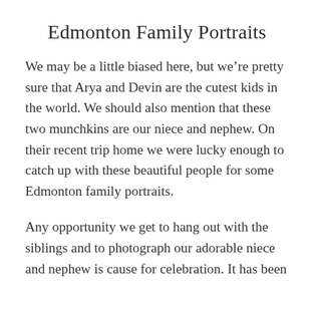Edmonton Family Portraits
We may be a little biased here, but we're pretty sure that Arya and Devin are the cutest kids in the world. We should also mention that these two munchkins are our niece and nephew. On their recent trip home we were lucky enough to catch up with these beautiful people for some Edmonton family portraits.
Any opportunity we get to hang out with the siblings and to photograph our adorable niece and nephew is cause for celebration. It has been